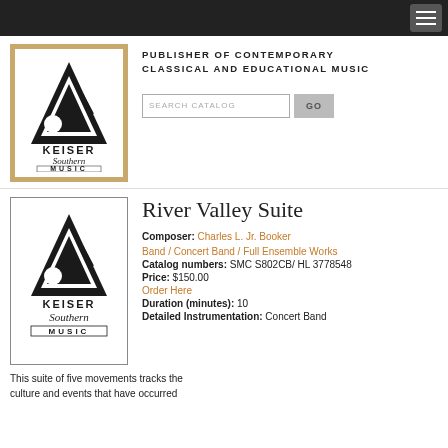Navigation bar with hamburger menu
[Figure (logo): Keiser Southern Music logo with tan/gold border, black triangle/music note graphic, KEISER text, Southern script, MUSIC text]
PUBLISHER OF CONTEMPORARY CLASSICAL AND EDUCATIONAL MUSIC
SEARCH CATALOG  GO
[Figure (logo): Keiser Southern Music logo with gray border, black triangle/music note graphic, KEISER text, Southern script, MUSIC text]
River Valley Suite
Composer: Charles L. Jr. Booker
Band / Concert Band / Full Ensemble Works
Catalog numbers: SMC S802CB/ HL 3778548
Price: $150.00
Order Here
Duration (minutes): 10
Detailed Instrumentation: Concert Band
This suite of five movements tracks the culture and events that have occurred